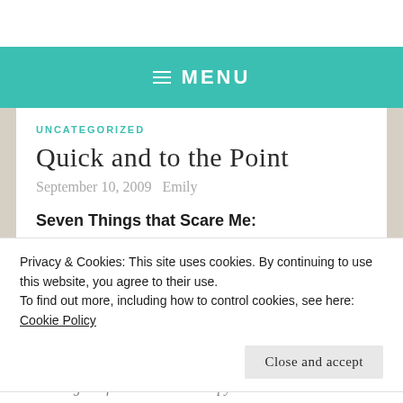MENU
UNCATEGORIZED
Quick and to the Point
September 10, 2009   Emily
Seven Things that Scare Me:
Privacy & Cookies: This site uses cookies. By continuing to use this website, you agree to their use.
To find out more, including how to control cookies, see here:
Cookie Policy
Close and accept
Driving too fast next to cement pylons